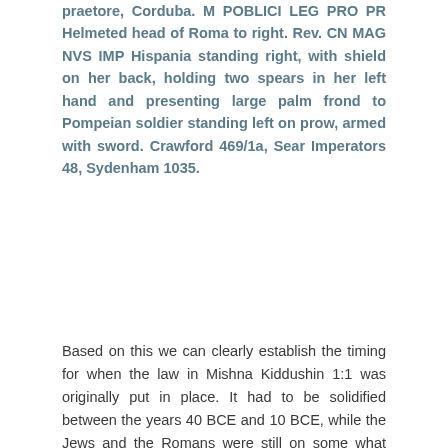praetore, Corduba. M POBLICI LEG PRO PR Helmeted head of Roma to right. Rev. CN MAG NVS IMP Hispania standing right, with shield on her back, holding two spears in her left hand and presenting large palm frond to Pompeian soldier standing left on prow, armed with sword. Crawford 469/1a, Sear Imperators 48, Sydenham 1035.
Based on this we can clearly establish the timing for when the law in Mishna Kiddushin 1:1 was originally put in place. It had to be solidified between the years 40 BCE and 10 BCE, while the Jews and the Romans were still on some what friendly terms, during the supremacy of Hillel and Shammai themselves. Once Hillel and Shammai passed away, their schools started debating the details of the recently established law of the three modes of Kiddushin. By the time of the destruction of the Temple, the original monetary system in which this law was anchored, already forgotten and